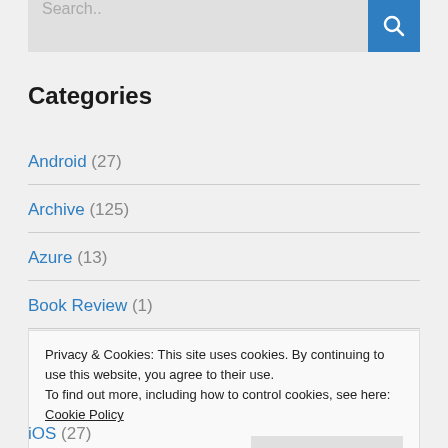[Figure (other): Search bar with text input placeholder 'Search..' and a blue search button with magnifying glass icon]
Categories
Android (27)
Archive (125)
Azure (13)
Book Review (1)
Privacy & Cookies: This site uses cookies. By continuing to use this website, you agree to their use.
To find out more, including how to control cookies, see here: Cookie Policy
iOS (27)